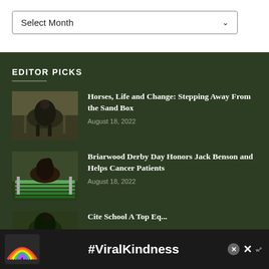[Figure (screenshot): Select Month dropdown box, white background, with chevron arrow on right]
EDITOR PICKS
[Figure (photo): Person riding dark horse in dressage arena]
Horses, Life and Change: Stepping Away From the Sand Box
August 18, 2022
[Figure (photo): Horse and rider jumping over colorful fence]
Briarwood Derby Day Honors Jack Benson and Helps Cancer Patients
August 18, 2022
[Figure (photo): Partial view of third article thumbnail, horse and rider]
Cite School A Top Eq...
[Figure (screenshot): #ViralKindness advertisement banner with rainbow icon and close buttons]